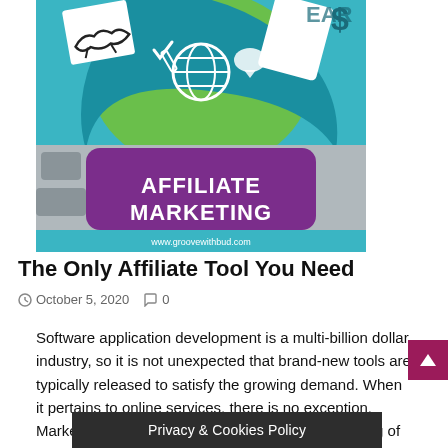[Figure (illustration): Affiliate marketing promotional image showing a keyboard with a purple key labeled 'AFFILIATE MARKETING', surrounded by icons of handshake, globe, thumbs up, dollar sign, checkmark, speech bubble. Website URL www.groovewithbud.com shown at bottom of image.]
The Only Affiliate Tool You Need
October 5, 2020   0
Software application development is a multi-billion dollar industry, so it is not unexpected that brand-new tools are typically released to satisfy the growing demand. When it pertains to online services, there is no exception. Marketing tools are vital for any company, consisting of standard companies looking to go on...ness, or any